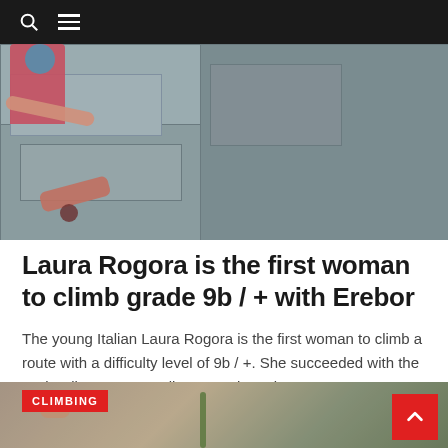Navigation bar with search and menu icons
[Figure (photo): Aerial/overhead view of a rock climber (woman with red hair) on a rocky cliff face, wearing a pink/blue outfit, reaching down toward the rock surface. The image shows gray limestone or rock texture.]
Laura Rogora is the first woman to climb grade 9b / + with Erebor
The young Italian Laura Rogora is the first woman to climb a route with a difficulty level of 9b / +. She succeeded with the Erebor line at Eremo di San Paolo, Italy.
Read More
[Figure (photo): Partial bottom photo showing a climber's hands/feet on rock, with a green rope visible. A red CLIMBING category badge overlays the top-left corner of the image.]